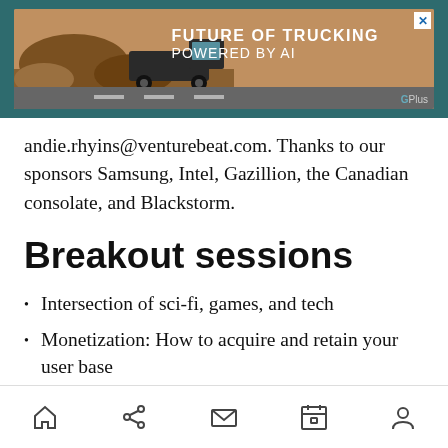[Figure (screenshot): Advertisement banner for 'Future of Trucking Powered by AI' with a truck image on a desert background, G+Plus logo, and close button.]
andie.rhyins@venturebeat.com. Thanks to our sponsors Samsung, Intel, Gazillion, the Canadian consolate, and Blackstorm.
Breakout sessions
Intersection of sci-fi, games, and tech
Monetization: How to acquire and retain your user base
Deals: Follow the money
Navigation bar with home, share, mail, calendar, and user icons